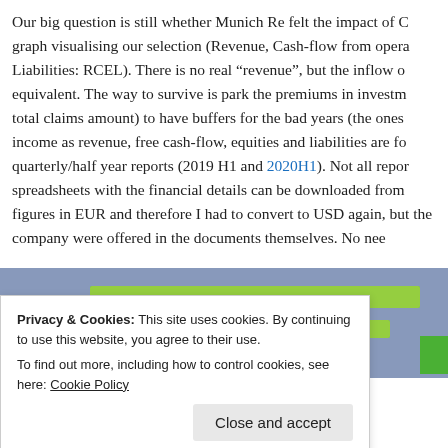Our big question is still whether Munich Re felt the impact of C graph visualising our selection (Revenue, Cash-flow from opera Liabilities: RCEL). There is no real “revenue”, but the inflow o equivalent. The way to survive is park the premiums in investm total claims amount) to have buffers for the bad years (the ones income as revenue, free cash-flow, equities and liabilities are fo quarterly/half year reports (2019 H1 and 2020H1). Not all repor spreadsheets with the financial details can be downloaded from figures in EUR and therefore I had to convert to USD again, but the company were offered in the documents themselves. No nee
[Figure (other): Partial bar chart image showing green and yellow horizontal bars on a purple/blue background, partially obscured by a cookie consent overlay.]
Privacy & Cookies: This site uses cookies. By continuing to use this website, you agree to their use.
To find out more, including how to control cookies, see here: Cookie Policy
Close and accept